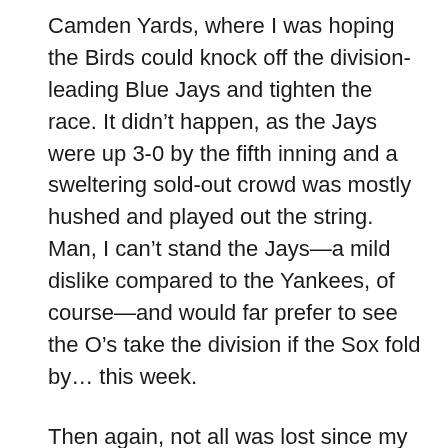Camden Yards, where I was hoping the Birds could knock off the division-leading Blue Jays and tighten the race. It didn't happen, as the Jays were up 3-0 by the fifth inning and a sweltering sold-out crowd was mostly hushed and played out the string. Man, I can't stand the Jays—a mild dislike compared to the Yankees, of course—and would far prefer to see the O's take the division if the Sox fold by… this week.
Then again, not all was lost since my in-laws were in town for the weekend and my wife's dad, a very spry 76, was buzzing at the game, delighted by our field-level seats behind Toronto's dugout (very pricey, but hey they came with a complimentary ticket for Boog's inexplicably praised barbecue), and rooting for the home team. Rudy's a White Sox fan since way back—another team that can just about call it quits this year—but more than anyone I know he simply enjoys the game itself and loves to gab